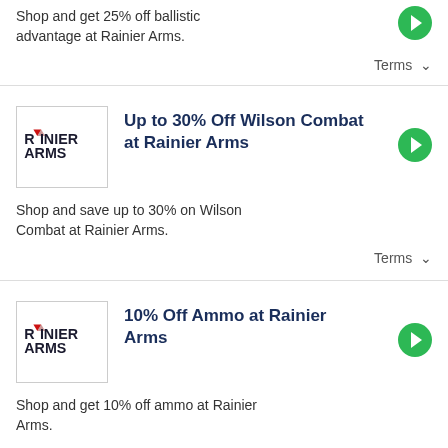Shop and get 25% off ballistic advantage at Rainier Arms.
Terms ∨
[Figure (logo): Rainier Arms logo]
Up to 30% Off Wilson Combat at Rainier Arms
Shop and save up to 30% on Wilson Combat at Rainier Arms.
Terms ∨
[Figure (logo): Rainier Arms logo]
10% Off Ammo at Rainier Arms
Shop and get 10% off ammo at Rainier Arms.